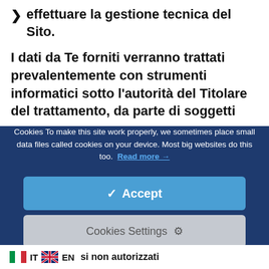effettuare la gestione tecnica del Sito.
I dati da Te forniti verranno trattati prevalentemente con strumenti informatici sotto l’autorità del Titolare del trattamento, da parte di soggetti
[Figure (screenshot): Cookie consent banner with dark blue background. Contains text: 'Cookies To make this site work properly, we sometimes place small data files called cookies on your device. Most big websites do this too. Read more →'. Two buttons: blue 'Accept' button with checkmark, and grey 'Cookies Settings' button with gear icon.]
IT    EN    si non autorizzati